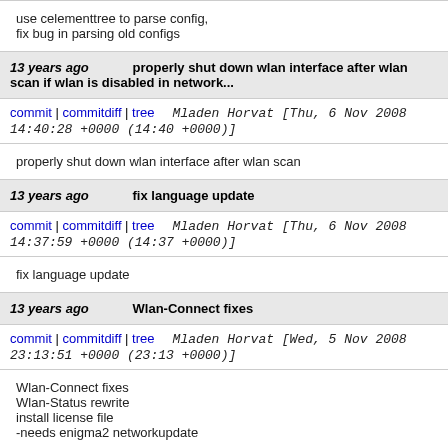use celementtree to parse config,
fix bug in parsing old configs
13 years ago   properly shut down wlan interface after wlan scan if wlan is disabled in network...
commit | commitdiff | tree   Mladen Horvat [Thu, 6 Nov 2008 14:40:28 +0000 (14:40 +0000)]
properly shut down wlan interface after wlan scan
13 years ago   fix language update
commit | commitdiff | tree   Mladen Horvat [Thu, 6 Nov 2008 14:37:59 +0000 (14:37 +0000)]
fix language update
13 years ago   Wlan-Connect fixes
commit | commitdiff | tree   Mladen Horvat [Wed, 5 Nov 2008 23:13:51 +0000 (23:13 +0000)]
Wlan-Connect fixes
Wlan-Status rewrite
install license file
-needs enigma2 networkupdate